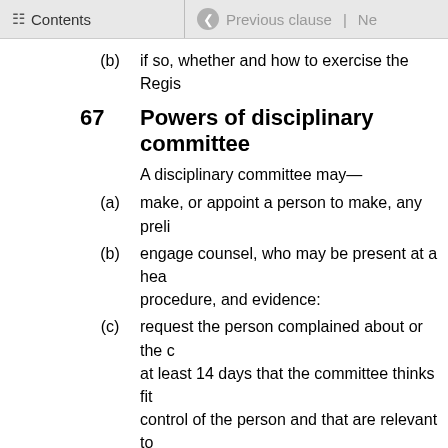Contents | Previous clause | Ne
(b) if so, whether and how to exercise the Regis
67 Powers of disciplinary committee
A disciplinary committee may—
(a) make, or appoint a person to make, any preli
(b) engage counsel, who may be present at a hearing procedure, and evidence:
(c) request the person complained about or the c at least 14 days that the committee thinks fit control of the person and that are relevant to
(d) take copies of any documents provided to it:
(e) request the person complained about or the c cost, on at least 14 days' notice:
(f) receive any evidence that it thinks fit:
(g) receive evidence on oath and otherwise in ac
(h) require a person giving evidence to verify a
(i) use the powers to summon witnesses under s